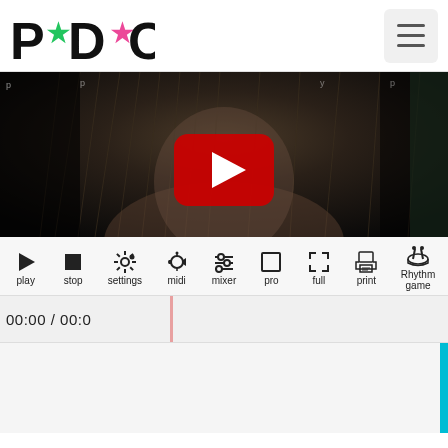[Figure (logo): PDO logo with star icons in green, pink/teal colors and bold black letters P, D, O]
[Figure (screenshot): Video player showing a close-up of a person with messy hair, YouTube play button overlay visible in center]
[Figure (infographic): Media player toolbar with icons: play, stop, settings, midi, mixer, pro, full, print, Rhythm game]
00:00 / 00:0
[Figure (other): Empty content area with cyan vertical scrollbar on right edge]